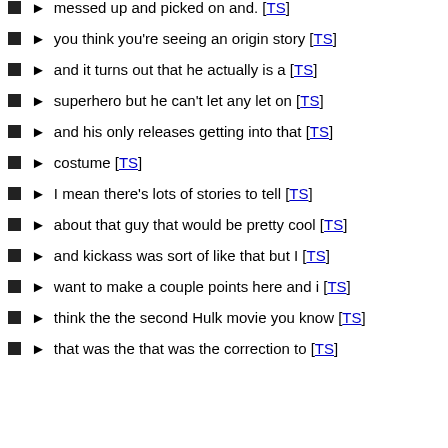messed up and picked on and. [TS]
you think you're seeing an origin story [TS]
and it turns out that he actually is a [TS]
superhero but he can't let any let on [TS]
and his only releases getting into that [TS]
costume [TS]
I mean there's lots of stories to tell [TS]
about that guy that would be pretty cool [TS]
and kickass was sort of like that but I [TS]
want to make a couple points here and i [TS]
think the the second Hulk movie you know [TS]
that was the that was the correction to [TS]